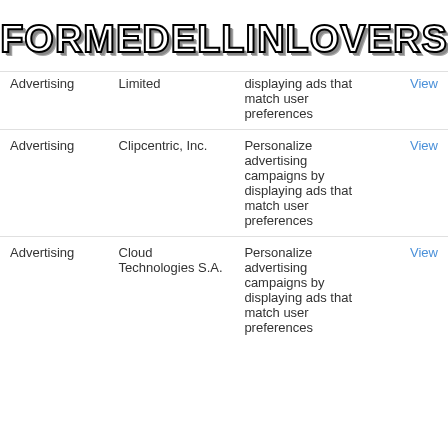FORMEDELLINLOVERS
| Category | Company | Description | Link |
| --- | --- | --- | --- |
| Advertising | Limited | displaying ads that match user preferences | View |
| Advertising | Clipcentric, Inc. | Personalize advertising campaigns by displaying ads that match user preferences | View |
| Advertising | Cloud Technologies S.A. | Personalize advertising campaigns by displaying ads that match user preferences | View |